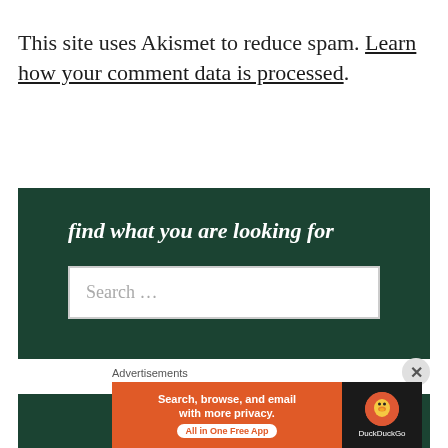This site uses Akismet to reduce spam. Learn how your comment data is processed.
[Figure (screenshot): Dark green search widget box with bold italic white text 'find what you are looking for' and a search input field below]
[Figure (screenshot): Dark green footer bar partially visible]
Advertisements
[Figure (screenshot): DuckDuckGo advertisement banner with orange left side reading 'Search, browse, and email with more privacy. All in One Free App' and black right side with DuckDuckGo duck logo]